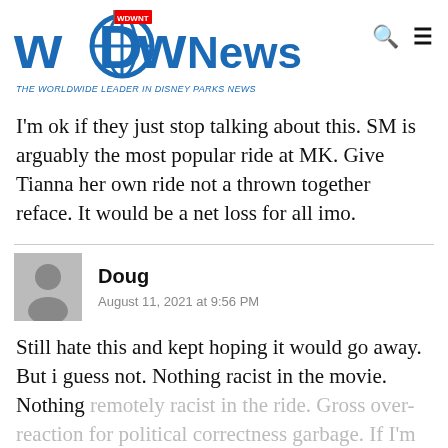WDW News Today — THE WORLDWIDE LEADER IN DISNEY PARKS NEWS
I'm ok if they just stop talking about this. SM is arguably the most popular ride at MK. Give Tianna her own ride not a thrown together reface. It would be a net loss for all imo.
Doug
August 11, 2021 at 9:56 PM
Still hate this and kept hoping it would go away. But i guess not. Nothing racist in the movie. Nothing remotely racist in the ride. Gross over-reaction for political correctness garbage. If I'm not mistaken, th